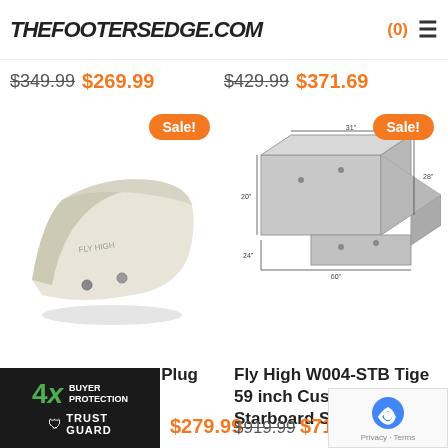THEFOOTERSEDGE.COM (0)
$349.99 $269.99
$429.99 $371.69
[Figure (photo): W034-1 1/8 Malibu Plug & Play Wedge inflatable bag, white/cream colored, with Sale! badge]
[Figure (photo): Fly High W004-STB Tige 59 inch Custom Starboard Surf Sac technical diagram/drawing showing dimensions 31", 28", 60", 24", 20"]
W034-1 1/8 Malibu Plug & Play Wedge
$279.99
Fly High W004-STB Tige 59 inch Custom Starboard Surf Sac
$919.99 $718.99
[Figure (logo): 4X Buyer Protection Trust Guard logo]
[Figure (logo): reCAPTCHA Privacy - Terms badge]